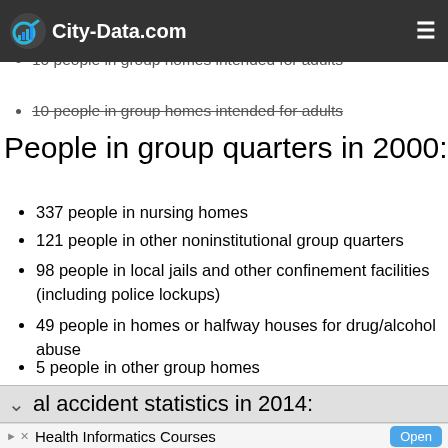City-Data.com
41 people in emergency and transitional shelters (with...)
people experiencing homeless...
10 people in group homes intended for adults
People in group quarters in 2000:
337 people in nursing homes
121 people in other noninstitutional group quarters
98 people in local jails and other confinement facilities (including police lockups)
49 people in homes or halfway houses for drug/alcohol abuse
5 people in other group homes
al accident statistics in 2014:
Health Informatics Courses - Trying To Find the Right School For You and Don't Know Where To Start? Visit Us. UTHealth SBMI